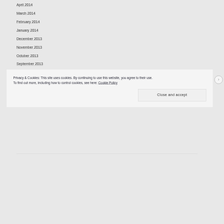April 2014
March 2014
February 2014
January 2014
December 2013
November 2013
October 2013
September 2013
August 2013
Privacy & Cookies: This site uses cookies. By continuing to use this website, you agree to their use.
To find out more, including how to control cookies, see here: Cookie Policy
Close and accept